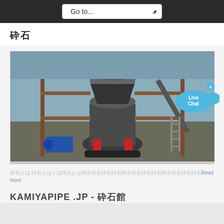Go to...
砕石
[Figure (photo): Industrial cone crusher machine at a gravel/stone processing site, with conveyor belts and structural steel framework visible. A 'Live Chat' speech bubble overlay is present in the upper right.]
砕石とは 砕石とはとは砕石とは砕石砕石砕石砕石砕石砕石砕石砕石砕石砕石砕石砕石Read more
KAMIYAPIPE .JP - 砕石館